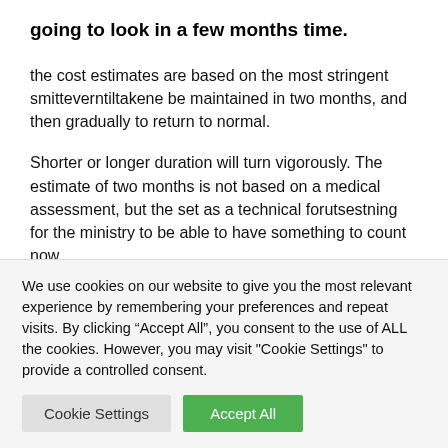going to look in a few months time.
the cost estimates are based on the most stringent smitteverntiltakene be maintained in two months, and then gradually to return to normal.
Shorter or longer duration will turn vigorously. The estimate of two months is not based on a medical assessment, but the set as a technical forutsestning for the ministry to be able to have something to count now.
We use cookies on our website to give you the most relevant experience by remembering your preferences and repeat visits. By clicking “Accept All”, you consent to the use of ALL the cookies. However, you may visit "Cookie Settings" to provide a controlled consent.